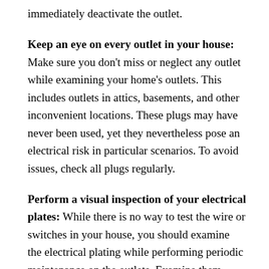immediately deactivate the outlet.
Keep an eye on every outlet in your house: Make sure you don't miss or neglect any outlet while examining your home's outlets. This includes outlets in attics, basements, and other inconvenient locations. These plugs may have never been used, yet they nevertheless pose an electrical risk in particular scenarios. To avoid issues, check all plugs regularly.
Perform a visual inspection of your electrical plates: While there is no way to test the wire or switches in your house, you should examine the electrical plating while performing periodic maintenance on the outlets. Examine them carefully for burn marks, fractures, or discoloration. Any damage may suggest the presence of an electrical risk.